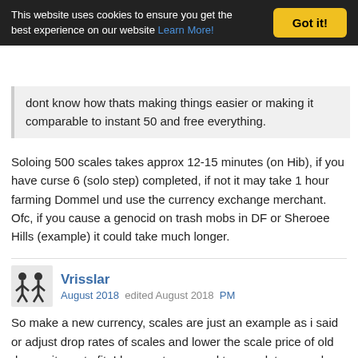This website uses cookies to ensure you get the best experience on our website Learn More! Got it!
dont know how thats making things easier or making it comparable to instant 50 and free everything.
Soloing 500 scales takes approx 12-15 minutes (on Hib), if you have curse 6 (solo step) completed, if not it may take 1 hour farming Dommel und use the currency exchange merchant.
Ofc, if you cause a genocid on trash mobs in DF or Sheroee Hills (example) it could take much longer.
Vrisslar
August 2018  edited August 2018  PM
So make a new currency, scales are just an example as i said or adjust drop rates of scales and lower the scale price of old dragon items to fit. I have not managed to complete cursed or OW yet, so dont know anything about them, as in my play hours i havent been able to find any to complete it with yet. So thanks for the info, tho its a problem that can be adjusted.